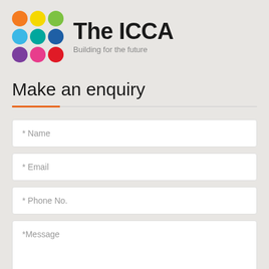[Figure (logo): The ICCA logo with colorful dot grid (3x3: orange, yellow, green, blue, teal, blue, purple, pink, red) and text 'The ICCA' with tagline 'Building for the future']
Make an enquiry
* Name
* Email
* Phone No.
*Message